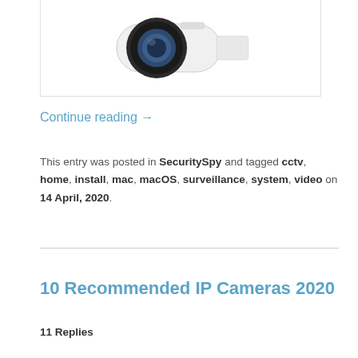[Figure (photo): A white bullet-style IP security camera shown from the front/side angle, with a dark lens housing, on a white background.]
Continue reading →
This entry was posted in SecuritySpy and tagged cctv, home, install, mac, macOS, surveillance, system, video on 14 April, 2020.
10 Recommended IP Cameras 2020
11 Replies